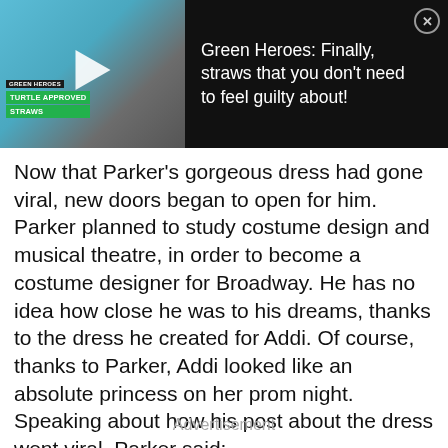[Figure (screenshot): Video advertisement thumbnail showing a woman in teal holding colorful straws, with Green Heroes Turtle Approved Straws overlay text and a play button. Right side shows ad text: 'Green Heroes: Finally, straws that you don't need to feel guilty about!' with a close button.]
Now that Parker’s gorgeous dress had gone viral, new doors began to open for him. Parker planned to study costume design and musical theatre, in order to become a costume designer for Broadway. He has no idea how close he was to his dreams, thanks to the dress he created for Addi. Of course, thanks to Parker, Addi looked like an absolute princess on her prom night. Speaking about how his post about the dress went viral, Parker said:
Advertisement